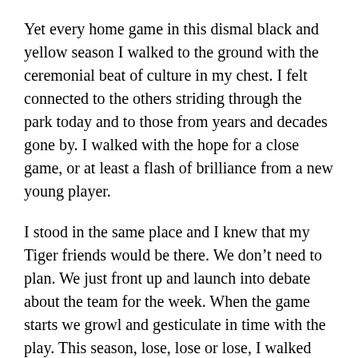Yet every home game in this dismal black and yellow season I walked to the ground with the ceremonial beat of culture in my chest. I felt connected to the others striding through the park today and to those from years and decades gone by. I walked with the hope for a close game, or at least a flash of brilliance from a new young player.
I stood in the same place and I knew that my Tiger friends would be there. We don’t need to plan. We just front up and launch into debate about the team for the week. When the game starts we growl and gesticulate in time with the play. This season, lose, lose or lose, I walked home with my earpiece while ignorant talkback callers bagged Richo.
My weekly football ritual, like family, gives me my